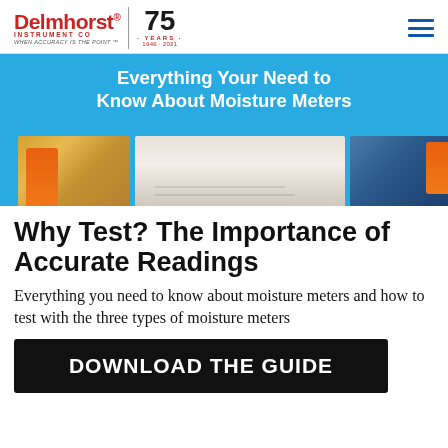Delmhorst® Instrument Co — When Accuracy Is The Point™ | 75 Years 1946–2021
[Figure (illustration): Blue banner with three photos: grain with orange moisture meter, person pointing at paper documents, blue surface with orange moisture meter. Title overlay reads: Everything Your Need to Know About Moisture Meters]
Why Test? The Importance of Accurate Readings
Everything you need to know about moisture meters and how to test with the three types of moisture meters
DOWNLOAD THE GUIDE